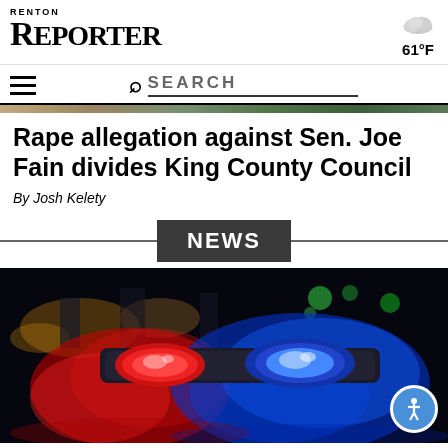RENTON REPORTER
61°F
Rape allegation against Sen. Joe Fain divides King County Council
By Josh Kelety
NEWS
[Figure (photo): Police car with red and blue emergency lights flashing at night, close-up of light bar]